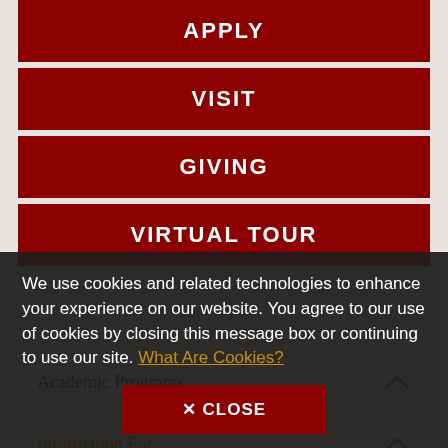APPLY
VISIT
GIVING
VIRTUAL TOUR
Academic Programs
Information For
We use cookies and related technologies to enhance your experience on our website. You agree to our use of cookies by closing this message box or continuing to use our site. What Are Cookies?
✕ CLOSE